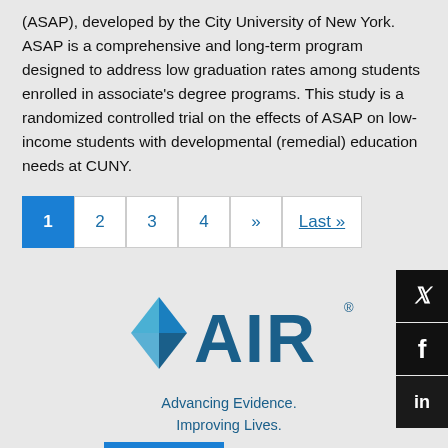(ASAP), developed by the City University of New York. ASAP is a comprehensive and long-term program designed to address low graduation rates among students enrolled in associate's degree programs. This study is a randomized controlled trial on the effects of ASAP on low-income students with developmental (remedial) education needs at CUNY.
[Figure (other): Pagination navigation bar with pages 1 (active/highlighted in blue), 2, 3, 4, >> (next), Last »]
[Figure (logo): AIR (American Institutes for Research) logo with diamond/arrow icon and tagline: Advancing Evidence. Improving Lives.]